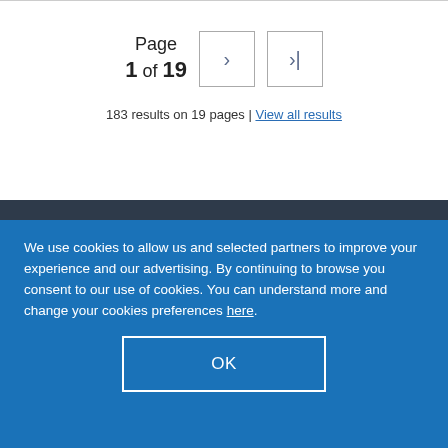Page 1 of 19
183 results on 19 pages | View all results
We use cookies to allow us and selected partners to improve your experience and our advertising. By continuing to browse you consent to our use of cookies. You can understand more and change your cookies preferences here.
OK